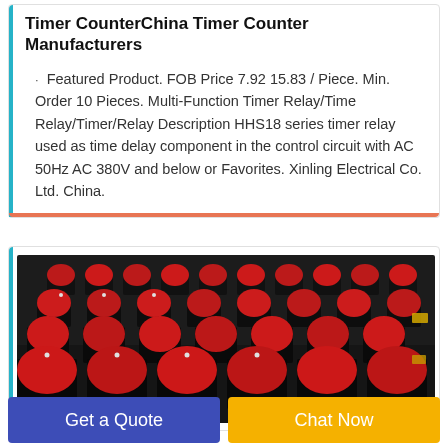Timer CounterChina Timer Counter Manufacturers
Featured Product. FOB Price 7.92 15.83 / Piece. Min. Order 10 Pieces. Multi-Function Timer Relay/Time Relay/Timer/Relay Description HHS18 series timer relay used as time delay component in the control circuit with AC 50Hz AC 380V and below or Favorites. Xinling Electrical Co. Ltd. China.
[Figure (photo): Rows of industrial machines or equipment with red and black components arranged in a warehouse or factory floor setting.]
Get a Quote
Chat Now